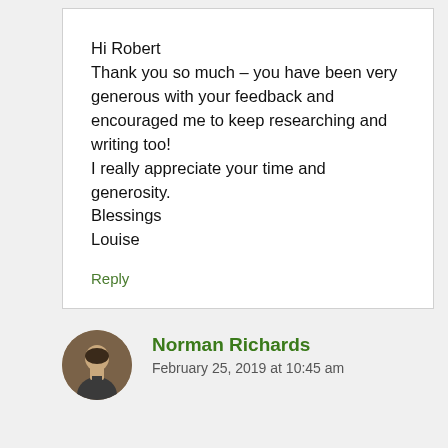Hi Robert
Thank you so much – you have been very generous with your feedback and encouraged me to keep researching and writing too!
I really appreciate your time and generosity.
Blessings
Louise
Reply
Norman Richards
February 25, 2019 at 10:45 am